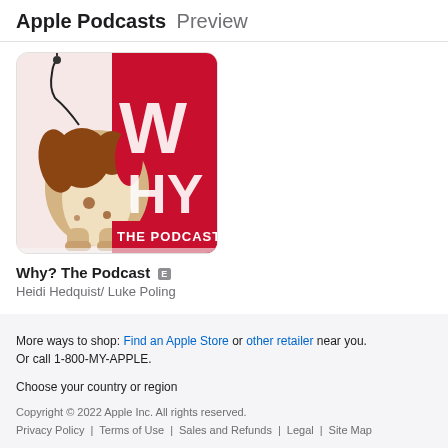Apple Podcasts Preview
[Figure (illustration): Podcast cover art for 'Why? The Podcast' showing a cartoon dog viewed from behind with earbuds, next to large red letters 'WHY' and text 'THE PODCAST' on a pink/red background]
Why? The Podcast
Heidi Hedquist/ Luke Poling
More ways to shop: Find an Apple Store or other retailer near you. Or call 1-800-MY-APPLE. Choose your country or region Copyright © 2022 Apple Inc. All rights reserved. Privacy Policy | Terms of Use | Sales and Refunds | Legal | Site Map